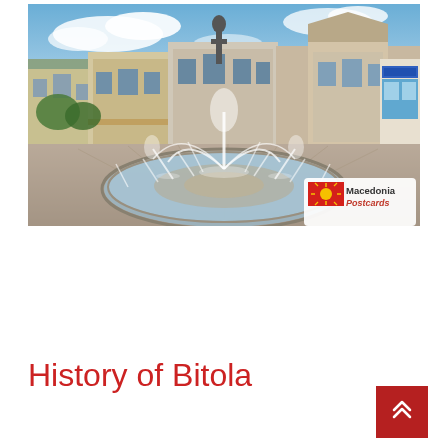[Figure (photo): Panoramic photo of a large circular fountain in Bitola city square with multiple water jets, a statue in the background, historic European-style buildings on both sides, blue sky with clouds. A 'Macedonia Postcards' logo with the Macedonian flag is visible in the lower right of the image.]
History of Bitola